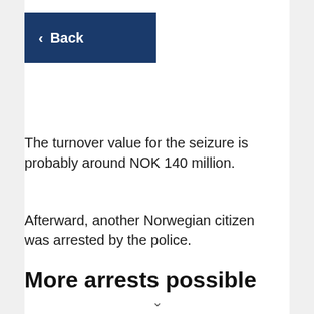Back
The turnover value for the seizure is probably around NOK 140 million.
Afterward, another Norwegian citizen was arrested by the police.
More arrests possible